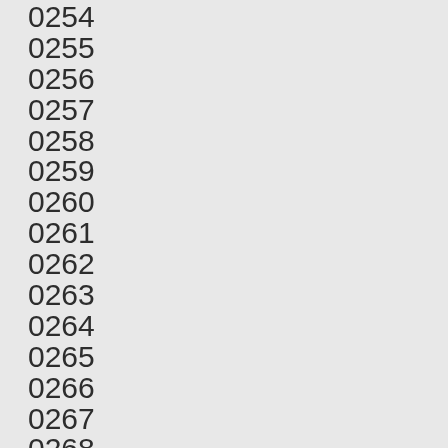0254
0255
0256
0257
0258
0259
0260
0261
0262
0263
0264
0265
0266
0267
0268